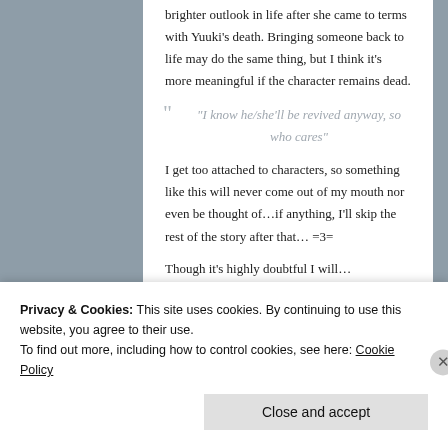brighter outlook in life after she came to terms with Yuuki's death. Bringing someone back to life may do the same thing, but I think it's more meaningful if the character remains dead.
“I know he/she’ll be revived anyway, so who cares”
I get too attached to characters, so something like this will never come out of my mouth nor even be thought of…if anything, I’ll skip the rest of the story after that… =3=
Though it’s highly doubtful I will…
Reply
Privacy & Cookies: This site uses cookies. By continuing to use this website, you agree to their use.
To find out more, including how to control cookies, see here: Cookie Policy